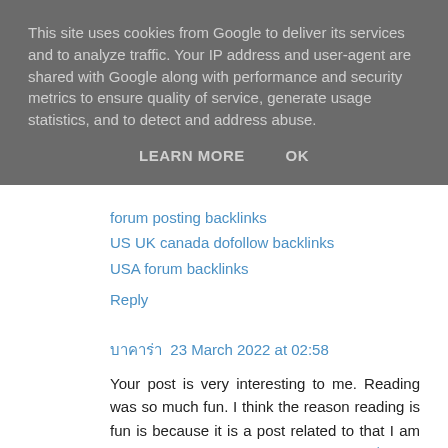This site uses cookies from Google to deliver its services and to analyze traffic. Your IP address and user-agent are shared with Google along with performance and security metrics to ensure quality of service, generate usage statistics, and to detect and address abuse.
LEARN MORE   OK
forum posting backlinks
US UK canada dofollow backlinks
USA forum backlinks
Reply
บาคาร่า 23 March 2022 at 02:58
Your post is very interesting to me. Reading was so much fun. I think the reason reading is fun is because it is a post related to that I am interested in. Articles related to บาคาร่า you are the best. I would like you to write a similar post about !
Reply